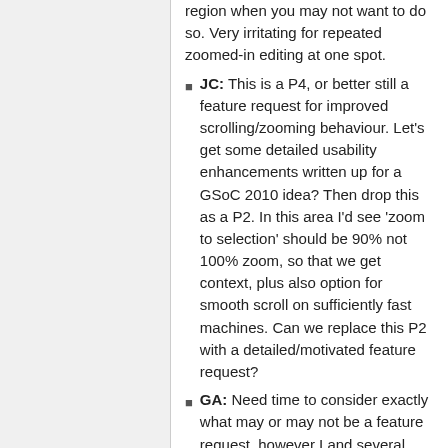region when you may not want to do so. Very irritating for repeated zoomed-in editing at one spot.
JC: This is a P4, or better still a feature request for improved scrolling/zooming behaviour. Let's get some detailed usability enhancements written up for a GSoC 2010 idea? Then drop this as a P2. In this area I'd see 'zoom to selection' should be 90% not 100% zoom, so that we get context, plus also option for smooth scroll on sufficiently fast machines. Can we replace this P2 with a detailed/motivated feature request?
GA: Need time to consider exactly what may or may not be a feature request, however I and several others regard the subject issue as excessively disruptive to "repeat editing" workflow, and